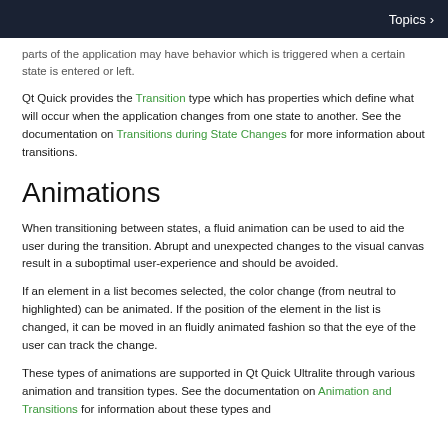Topics >
parts of the application may have behavior which is triggered when a certain state is entered or left.
Qt Quick provides the Transition type which has properties which define what will occur when the application changes from one state to another. See the documentation on Transitions during State Changes for more information about transitions.
Animations
When transitioning between states, a fluid animation can be used to aid the user during the transition. Abrupt and unexpected changes to the visual canvas result in a suboptimal user-experience and should be avoided.
If an element in a list becomes selected, the color change (from neutral to highlighted) can be animated. If the position of the element in the list is changed, it can be moved in an fluidly animated fashion so that the eye of the user can track the change.
These types of animations are supported in Qt Quick Ultralite through various animation and transition types. See the documentation on Animation and Transitions for information about these types and